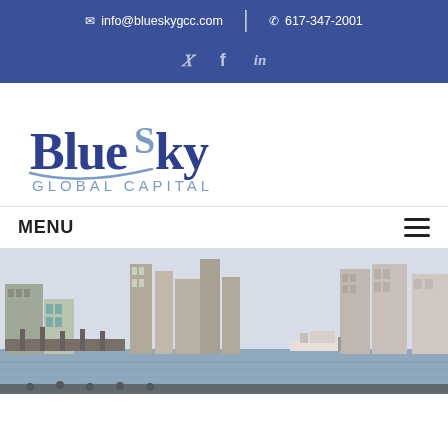info@blueskygcc.com | 617-347-2001
[Figure (logo): BlueSky Global Capital logo with stylized text and arc]
MENU
[Figure (photo): Boston waterfront skyline panorama with buildings and harbor]